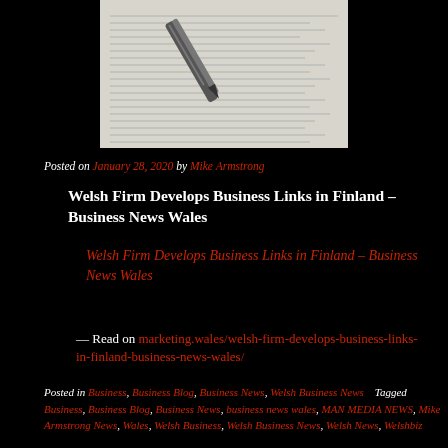[Figure (photo): Photo of a pen resting on a printed financial or data document with columns of numbers]
Posted on January 28, 2020 by Mike Armstrong
Welsh Firm Develops Business Links in Finland – Business News Wales
Welsh Firm Develops Business Links in Finland – Business News Wales
— Read on marketing.wales/welsh-firm-develops-business-links-in-finland-business-news-wales/
Posted in Business, Business Blog, Business News, Welsh Business News    Tagged Business, Business Blog, Business News, business news wales, MAN MEDIA NEWS, Mike Armstrong News, Wales, Welsh Business, Welsh Business News, Welsh News, Welshbiz